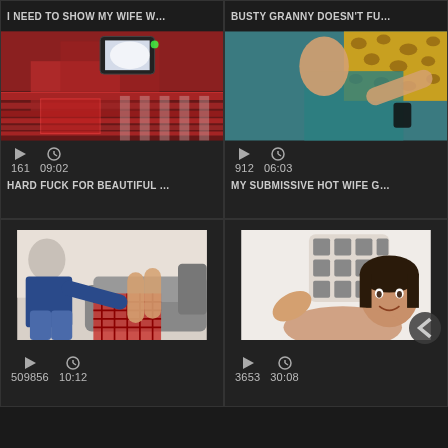I NEED TO SHOW MY WIFE W…
[Figure (screenshot): Video thumbnail showing a dim room with red bedding and a glowing phone screen]
161   09:02
HARD FUCK FOR BEAUTIFUL …
BUSTY GRANNY DOESN'T FU…
[Figure (screenshot): Video thumbnail showing a woman lying back on leopard print and teal surface]
912   06:03
MY SUBMISSIVE HOT WIFE G…
[Figure (screenshot): Video thumbnail showing a bald man and a person in plaid pants on a couch]
509856   10:12
[Figure (screenshot): Video thumbnail showing a woman smiling on a couch with patterned pillows]
3653   30:08